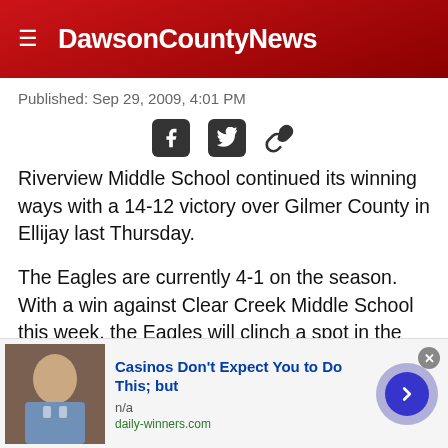DawsonCountyNews
Published: Sep 29, 2009, 4:01 PM
[Figure (other): Social sharing icons: Facebook, Twitter, link/copy]
Riverview Middle School continued its winning ways with a 14-12 victory over Gilmer County in Ellijay last Thursday.
The Eagles are currently 4-1 on the season. With a win against Clear Creek Middle School this week, the Eagles will clinch a spot in the championship game.
As both teams readied for play last week, the sky opened up
[Figure (other): Advertisement banner: Casinos Don't Expect You to Do This; but — daily-winners.com]